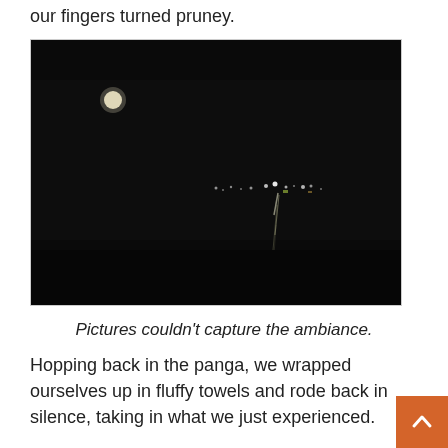our fingers turned pruney.
[Figure (photo): A dark nighttime photograph showing distant lights reflected on water, with what appears to be a moon or bright light in the upper left area. The image is predominantly black with small points of light visible on the horizon and their reflections in the water.]
Pictures couldn't capture the ambiance.
Hopping back in the panga, we wrapped ourselves up in fluffy towels and rode back in silence, taking in what we just experienced.